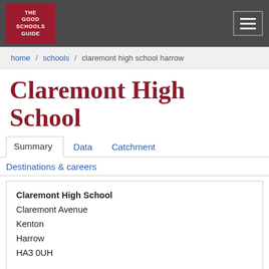THE GOOD SCHOOLS GUIDE
home / schools / claremont high school harrow
Claremont High School
Summary | Data | Catchment | Destinations & careers
Claremont High School
Claremont Avenue
Kenton
Harrow
HA3 0UH

Head: Ms Nicola Hyde-Boughey

T 020 8204 4442